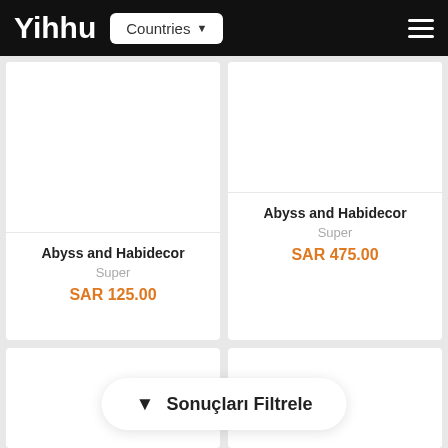Yihhu  Countries
Abyss and Habidecor
Super
SAR 125.00
Abyss and Habidecor
Super
SAR 475.00
Sonuçları Filtrele